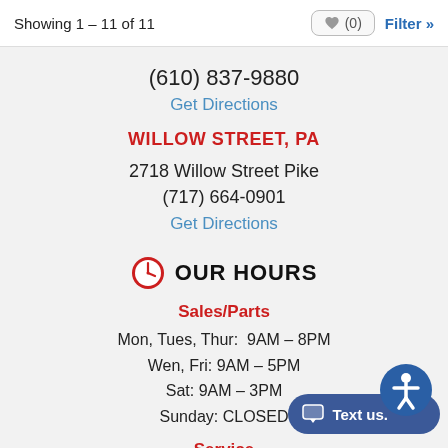Showing 1 – 11 of 11
(610) 837-9880
Get Directions
WILLOW STREET, PA
2718 Willow Street Pike
(717) 664-0901
Get Directions
OUR HOURS
Sales/Parts
Mon, Tues, Thur:  9AM – 8PM
Wen, Fri: 9AM – 5PM
Sat: 9AM – 3PM
Sunday: CLOSED
Service